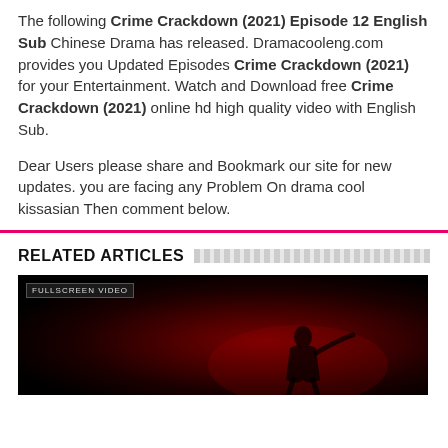The following Crime Crackdown (2021) Episode 12 English Sub Chinese Drama has released. Dramacooleng.com provides you Updated Episodes Crime Crackdown (2021) for your Entertainment. Watch and Download free Crime Crackdown (2021) online hd high quality video with English Sub.
Dear Users please share and Bookmark our site for new updates. you are facing any Problem On drama cool kissasian Then comment below.
RELATED ARTICLES
[Figure (photo): Dark promotional image with red spotlight/glow effect and a dark silhouette figure, with a small badge label in the top left corner reading preview video or similar text]